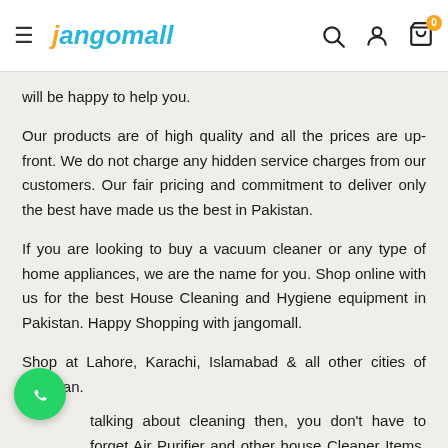jangomall — navigation header with hamburger menu, logo, search, account, and cart icons
will be happy to help you.
Our products are of high quality and all the prices are up-front. We do not charge any hidden service charges from our customers. Our fair pricing and commitment to deliver only the best have made us the best in Pakistan.
If you are looking to buy a vacuum cleaner or any type of home appliances, we are the name for you. Shop online with us for the best House Cleaning and Hygiene equipment in Pakistan. Happy Shopping with jangomall.
Shop at Lahore, Karachi, Islamabad & all other cities of Pakistan.
talking about cleaning then, you don't have to forget Air Purifier and other house Cleaner Items. Visit this given link for more